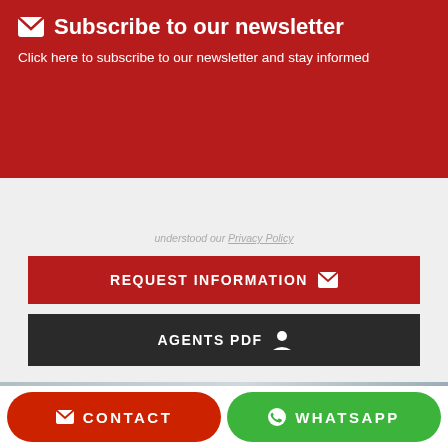Subscribe to our newsletter
Click here to subscribe to our newsletter and stay informed
understood our Privacy Policy
REQUEST INFORMATION
AGENTS PDF
SIMILAR PROPERTIES
RESERVED
CONTACT
WHATSAPP